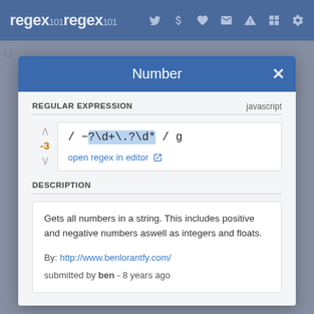regex101 — navigation header with icons
Number
REGULAR EXPRESSION  javascript
/ -?\d+\.?\d* / g
open regex in editor
DESCRIPTION
Gets all numbers in a string. This includes positive and negative numbers aswell as integers and floats.
By: http://www.benlorantfy.com/
submitted by ben - 8 years ago